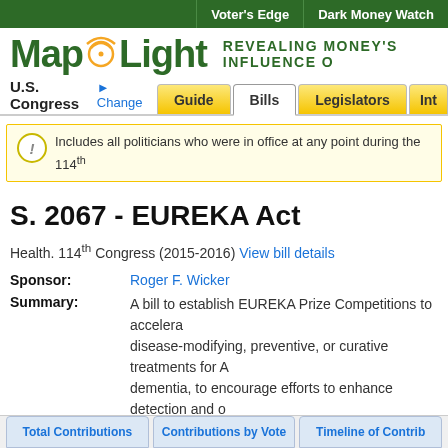Voter's Edge | Dark Money Watch
[Figure (logo): MapLight logo with wifi icon and tagline REVEALING MONEY'S INFLUENCE]
U.S. Congress - Change | Guide | Bills | Legislators | Int
Includes all politicians who were in office at any point during the 114th
S. 2067 - EUREKA Act
Health. 114th Congress (2015-2016) View bill details
Sponsor: Roger F. Wicker
Summary: A bill to establish EUREKA Prize Competitions to accelerate disease-modifying, preventive, or curative treatments for A dementia, to encourage efforts to enhance detection and o enhance the quality and efficiency of care of individuals wi
Status: The bill has been referred to committee.
Total Contributions | Contributions by Vote | Timeline of Contrib